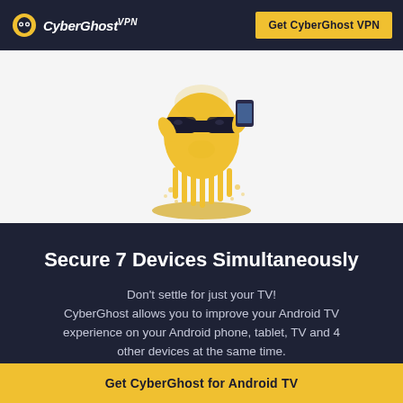CyberGhost VPN — Get CyberGhost VPN
[Figure (illustration): CyberGhost mascot: yellow ghost character wearing black sunglasses, holding a smartphone/device, with yellow dripping liquid effect below and a yellow oval shadow on the ground, on a light grey background.]
Secure 7 Devices Simultaneously
Don't settle for just your TV! CyberGhost allows you to improve your Android TV experience on your Android phone, tablet, TV and 4 other devices at the same time.
Get CyberGhost for Android TV